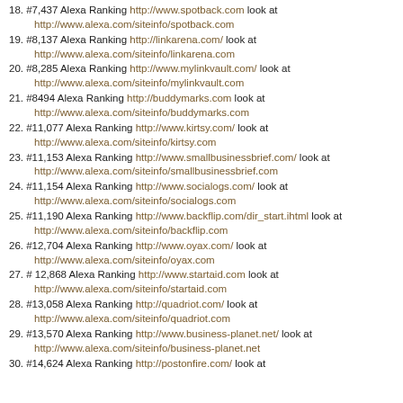18. #7,437 Alexa Ranking http://www.spotback.com look at http://www.alexa.com/siteinfo/spotback.com
19. #8,137 Alexa Ranking http://linkarena.com/ look at http://www.alexa.com/siteinfo/linkarena.com
20. #8,285 Alexa Ranking http://www.mylinkvault.com/ look at http://www.alexa.com/siteinfo/mylinkvault.com
21. #8494 Alexa Ranking http://buddymarks.com look at http://www.alexa.com/siteinfo/buddymarks.com
22. #11,077 Alexa Ranking http://www.kirtsy.com/ look at http://www.alexa.com/siteinfo/kirtsy.com
23. #11,153 Alexa Ranking http://www.smallbusinessbrief.com/ look at http://www.alexa.com/siteinfo/smallbusinessbrief.com
24. #11,154 Alexa Ranking http://www.socialogs.com/ look at http://www.alexa.com/siteinfo/socialogs.com
25. #11,190 Alexa Ranking http://www.backflip.com/dir_start.ihtml look at http://www.alexa.com/siteinfo/backflip.com
26. #12,704 Alexa Ranking http://www.oyax.com/ look at http://www.alexa.com/siteinfo/oyax.com
27. # 12,868 Alexa Ranking http://www.startaid.com look at http://www.alexa.com/siteinfo/startaid.com
28. #13,058 Alexa Ranking http://quadriot.com/ look at http://www.alexa.com/siteinfo/quadriot.com
29. #13,570 Alexa Ranking http://www.business-planet.net/ look at http://www.alexa.com/siteinfo/business-planet.net
30. #14,624 Alexa Ranking http://postonfire.com/ look at